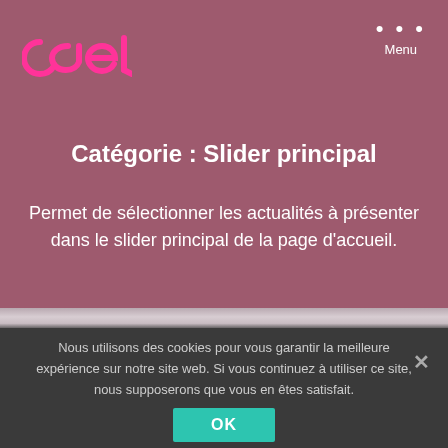[Figure (logo): CAEL logo in pink on dark mauve background, top left]
Menu
Catégorie : Slider principal
Permet de sélectionner les actualités à présenter dans le slider principal de la page d'accueil.
Nous utilisons des cookies pour vous garantir la meilleure expérience sur notre site web. Si vous continuez à utiliser ce site, nous supposerons que vous en êtes satisfait.
OK